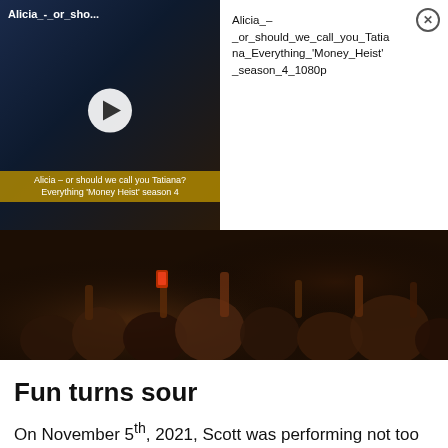[Figure (screenshot): Video thumbnail showing a dark scene with a play button and subtitle text 'Alicia – or should we call you Tatiana? Everything Money Heist season 4'. Title bar reads 'Alicia_-_or_sho...']
Alicia_-_or_should_we_call_you_Tatiana_Everything_'Money_Heist'_season_4_1080p
[Figure (photo): Crowd photo at a concert, people with hands raised, some holding phones, taken at night with warm lighting]
Fun turns sour
On November 5th, 2021, Scott was performing not too far from the site previously known as Six Flags AstroWorld. It started off with Scott doing his usual and encouraging fans to break into the concert and ended with eight people dead.